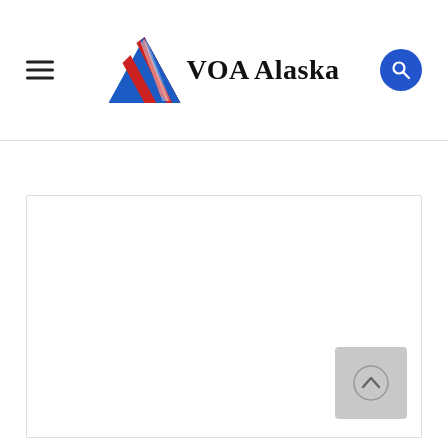VOA Alaska
[Figure (screenshot): Empty white content area with light border, representing a webpage content placeholder]